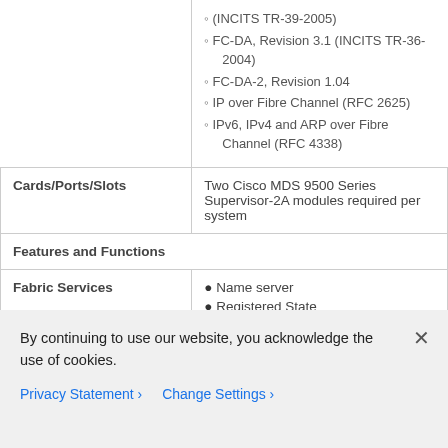|  | (INCITS TR-39-2005)
FC-DA, Revision 3.1 (INCITS TR-36-2004)
FC-DA-2, Revision 1.04
IP over Fibre Channel (RFC 2625)
IPv6, IPv4 and ARP over Fibre Channel (RFC 4338) |
| Cards/Ports/Slots | Two Cisco MDS 9500 Series Supervisor-2A modules required per system |
| Features and Functions |  |
| Fabric Services | Name server
Registered State Change Notification (cont.) |
By continuing to use our website, you acknowledge the use of cookies.
Privacy Statement > Change Settings >